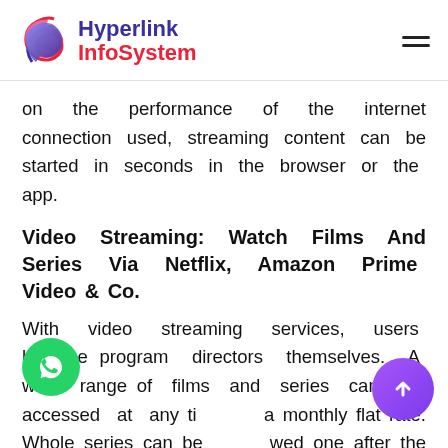Hyperlink InfoSystem
on the performance of the internet connection used, streaming content can be started in seconds in the browser or the app.
Video Streaming: Watch Films And Series Via Netflix, Amazon Prime Video & Co.
With video streaming services, users become program directors themselves. A wide range of films and series can be accessed at any time for a monthly flat rate. Whole series can be viewed one after the other if necessary. Video services such as Netflix and Amazon